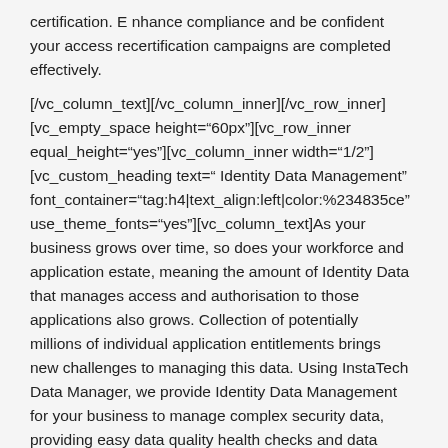certification. E nhance compliance and be confident your access recertification campaigns are completed effectively.
[/vc_column_text][/vc_column_inner][/vc_row_inner][vc_empty_space height="60px"][vc_row_inner equal_height="yes"][vc_column_inner width="1/2"][vc_custom_heading text=" Identity Data Management" font_container="tag:h4|text_align:left|color:%234835ce" use_theme_fonts="yes"][vc_column_text]As your business grows over time, so does your workforce and application estate, meaning the amount of Identity Data that manages access and authorisation to those applications also grows. Collection of potentially millions of individual application entitlements brings new challenges to managing this data. Using InstaTech Data Manager, we provide Identity Data Management for your business to manage complex security data, providing easy data quality health checks and data